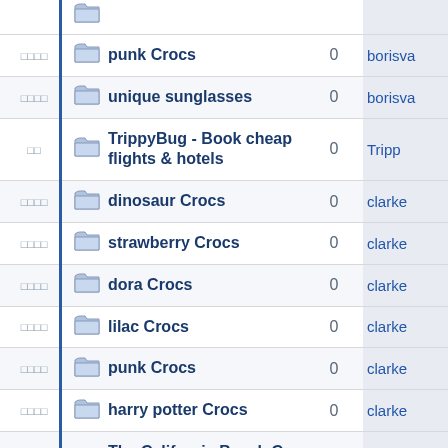| flags | icon | title | replies | user |
| --- | --- | --- | --- | --- |
| □□□□ | folder | punk Crocs | 0 | borisva |
| □□□□ | folder | unique sunglasses | 0 | borisva |
| □□ | folder | TrippyBug - Book cheap flights & hotels | 0 | Tripp |
| □□□□ | folder | dinosaur Crocs | 0 | clarke |
| □□□□ | folder | strawberry Crocs | 0 | clarke |
| □□□□ | folder | dora Crocs | 0 | clarke |
| □□□□ | folder | lilac Crocs | 0 | clarke |
| □□□□ | folder | punk Crocs | 0 | clarke |
| □□□□ | folder | harry potter Crocs | 0 | clarke |
| □□ | folder | The California Beach Co Coupon Code | 0 | sneeko |
| □□ | folder | Prestige Labs Coupon Code | 0 | sneeko |